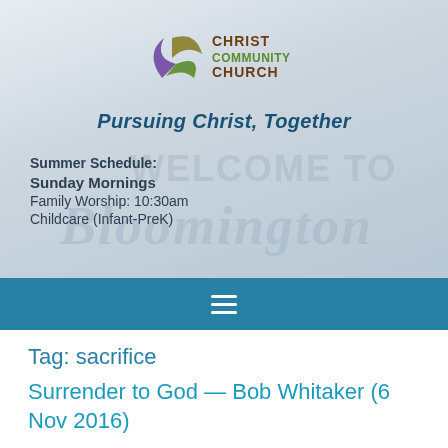[Figure (logo): Christ Community Church logo with stylized swoosh icon and text 'CHRIST COMMUNITY CHURCH' in olive/gold and purple colors]
Pursuing Christ, Together
Summer Schedule:
Sunday Mornings
Family Worship: 10:30am
Childcare (Infant-PreK)
Tag: sacrifice
Surrender to God — Bob Whitaker (6 Nov 2016)
Our next miniseries, The Gift of Surrender, begins